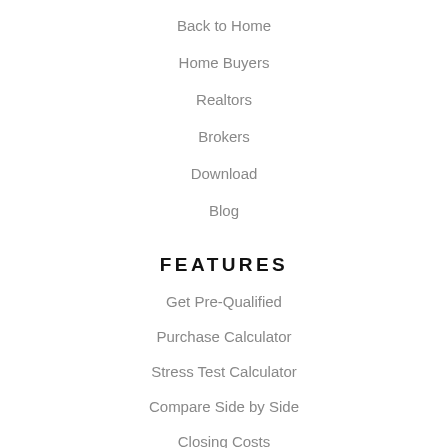Back to Home
Home Buyers
Realtors
Brokers
Download
Blog
FEATURES
Get Pre-Qualified
Purchase Calculator
Stress Test Calculator
Compare Side by Side
Closing Costs
Land Transfer Tax